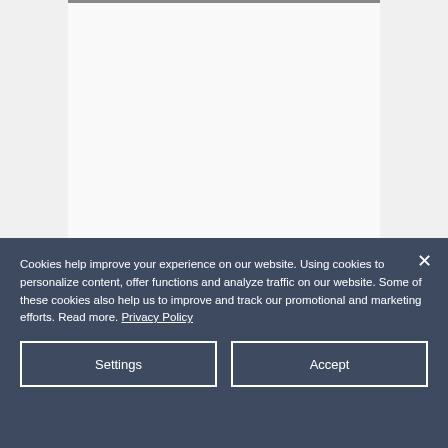[Figure (screenshot): Partial view of a webpage with a light gray background and a white content panel visible at the top portion of the page.]
Cookies help improve your experience on our website. Using cookies to personalize content, offer functions and analyze traffic on our website. Some of these cookies also help us to improve and track our promotional and marketing efforts. Read more. Privacy Policy
Settings
Accept